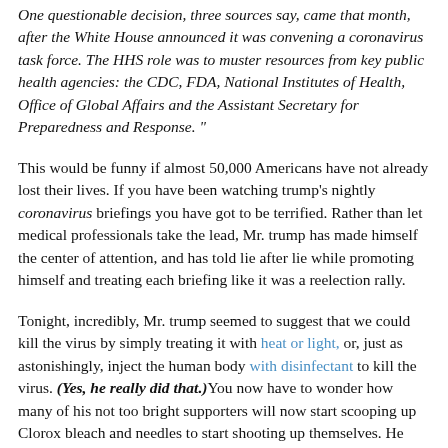One questionable decision, three sources say, came that month, after the White House announced it was convening a coronavirus task force. The HHS role was to muster resources from key public health agencies: the CDC, FDA, National Institutes of Health, Office of Global Affairs and the Assistant Secretary for Preparedness and Response. "
This would be funny if almost 50,000 Americans have not already lost their lives. If you have been watching trump's nightly coronavirus briefings you have got to be terrified. Rather than let medical professionals take the lead, Mr. trump has made himself the center of attention, and has told lie after lie while promoting himself and treating each briefing like it was a reelection rally.
Tonight, incredibly, Mr. trump seemed to suggest that we could kill the virus by simply treating it with heat or light, or, just as astonishingly, inject the human body with disinfectant to kill the virus. (Yes, he really did that.) You now have to wonder how many of his not too bright supporters will now start scooping up Clorox bleach and needles to start shooting up themselves. He also brought out one of his